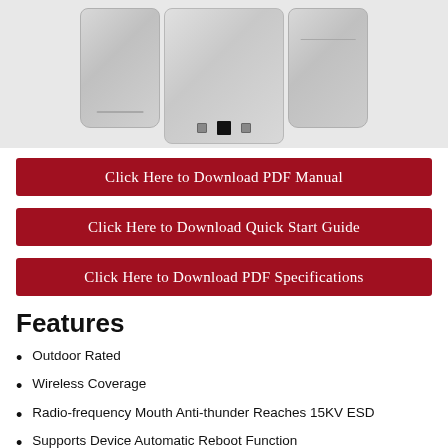[Figure (photo): Three outdoor wireless access point / router devices shown from different angles: front left, front center with ports visible at bottom, and front right. Devices are white/silver colored rectangular units.]
Click Here to Download PDF Manual
Click Here to Download Quick Start Guide
Click Here to Download PDF Specifications
Features
Outdoor Rated
Wireless Coverage
Radio-frequency Mouth Anti-thunder Reaches 15KV ESD
Supports Device Automatic Reboot Function
5G Mode Supports 4920 Mhz to 6100 Mhz
Supports Flow Control